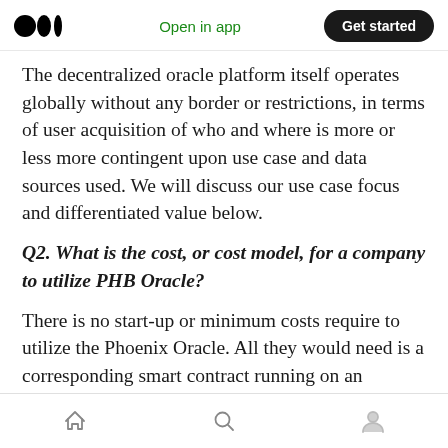Open in app | Get started
The decentralized oracle platform itself operates globally without any border or restrictions, in terms of user acquisition of who and where is more or less more contingent upon use case and data sources used. We will discuss our use case focus and differentiated value below.
Q2. What is the cost, or cost model, for a company to utilize PHB Oracle?
There is no start-up or minimum costs require to utilize the Phoenix Oracle. All they would need is a corresponding smart contract running on an